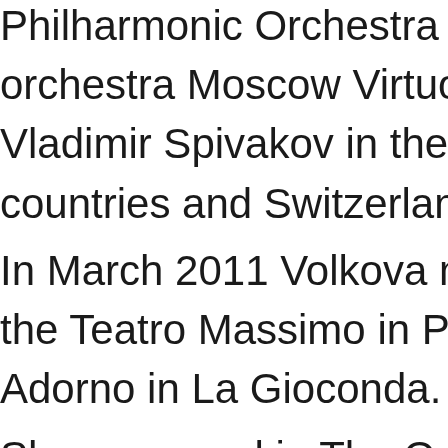Philharmonic Orchestra and the chamber orchestra Moscow Virtuosos conducted by Vladimir Spivakov in the cities of these countries and Switzerland. In March 2011 Volkova made her debut at the Teatro Massimo in Palermo (Italy) as Adorno in La Gioconda. She appeared in The Queen of Spades at Mikhailovsky Theatre in St. Petersburg and Carmen at the Teatro dell'Opera di...